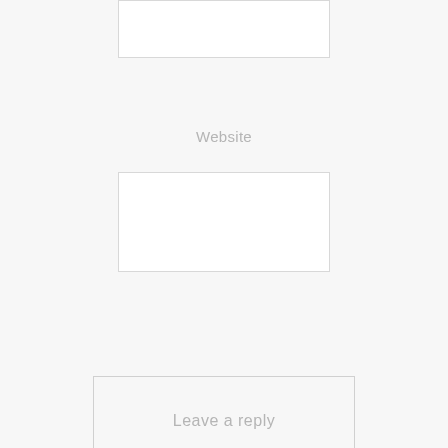Website
[Figure (other): Text input field for website URL]
Leave a reply
Archives
July 2019